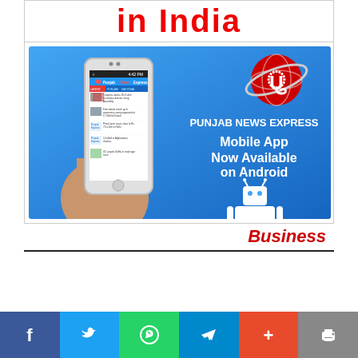in India
[Figure (screenshot): Punjab News Express mobile app advertisement on blue background showing a hand holding a smartphone with the app open, the Punjab News Express logo (red globe with 'u' letter), and text 'PUNJAB NEWS EXPRESS Mobile App Now Available on Android' with Android robot mascot]
Business
[Figure (other): Social media sharing bar with Facebook (blue), Twitter (light blue), WhatsApp (green), Telegram (blue), Share (orange-red), and Print (gray) buttons]